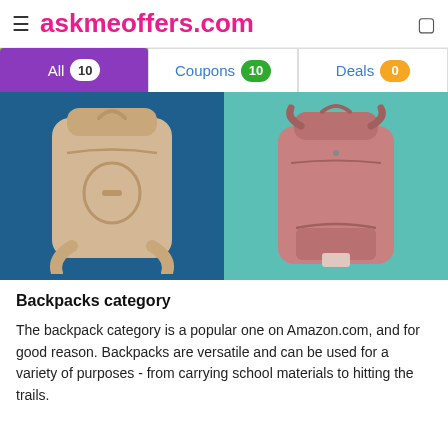askmeoffers.com
[Figure (screenshot): Tab bar showing All 10 (active/purple), Coupons 10 (green badge), Deals 0 (orange badge)]
[Figure (photo): Two backpacks side by side: beige/tan backpack on blue background (left), pink Herschel backpack on teal background (right)]
Backpacks category
The backpack category is a popular one on Amazon.com, and for good reason. Backpacks are versatile and can be used for a variety of purposes - from carrying school materials to hitting the trails.